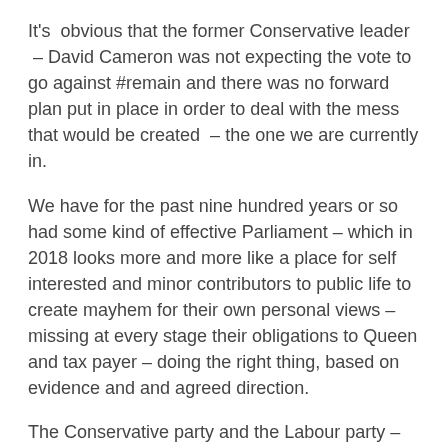It's  obvious that the former Conservative leader  – David Cameron was not expecting the vote to go against #remain and there was no forward plan put in place in order to deal with the mess that would be created  – the one we are currently in.
We have for the past nine hundred years or so had some kind of effective Parliament – which in 2018 looks more and more like a place for self interested and minor contributors to public life to create mayhem for their own personal views – missing at every stage their obligations to Queen and tax payer – doing the right thing, based on evidence and and agreed direction.
The Conservative party and the Labour party –  effectively the only two political sides that are going to make the difference in this matter are focusing on internal politics rather than the bigger picture and